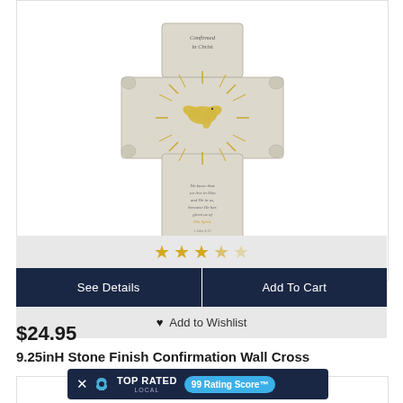[Figure (photo): Stone finish confirmation wall cross with gold dove and sunburst design, text reading 'Confirmed in Christ']
[Figure (other): Star rating row showing approximately 3.5 out of 5 stars in gold color]
See Details
Add To Cart
♥ Add to Wishlist
$24.95
9.25inH Stone Finish Confirmation Wall Cross
[Figure (logo): Top Rated Local badge with 99 Rating Score in blue bubble]